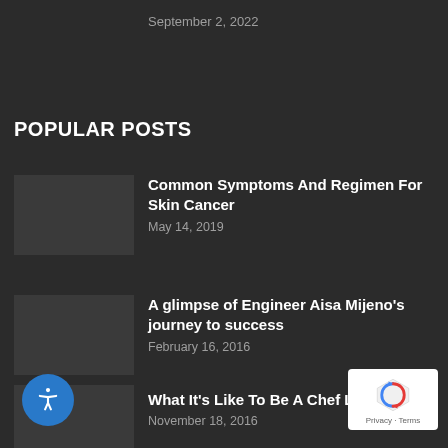September 2, 2022
POPULAR POSTS
Common Symptoms And Regimen For Skin Cancer
May 14, 2019
A glimpse of Engineer Aisa Mijeno's journey to success
February 16, 2016
What It's Like To Be A Chef Laudico
November 18, 2016